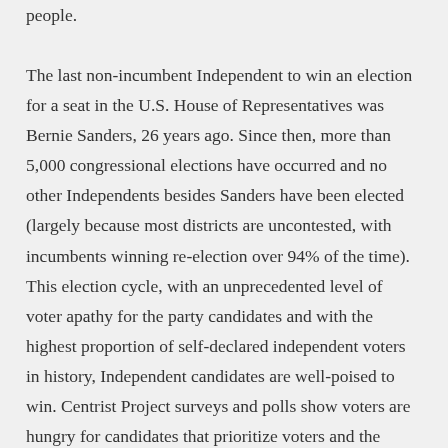people.
The last non-incumbent Independent to win an election for a seat in the U.S. House of Representatives was Bernie Sanders, 26 years ago. Since then, more than 5,000 congressional elections have occurred and no other Independents besides Sanders have been elected (largely because most districts are uncontested, with incumbents winning re-election over 94% of the time). This election cycle, with an unprecedented level of voter apathy for the party candidates and with the highest proportion of self-declared independent voters in history, Independent candidates are well-poised to win. Centrist Project surveys and polls show voters are hungry for candidates that prioritize voters and the country's interests, not a party's interests.